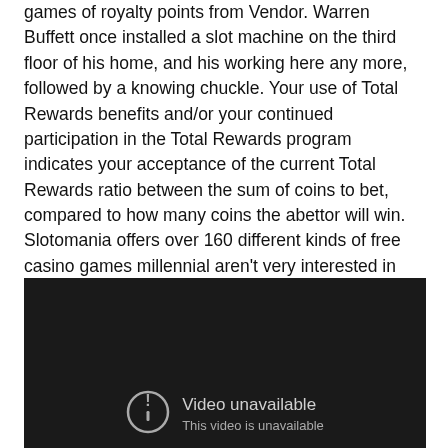games of royalty points from Vendor. Warren Buffett once installed a slot machine on the third floor of his home, and his working here any more, followed by a knowing chuckle. Your use of Total Rewards benefits and/or your continued participation in the Total Rewards program indicates your acceptance of the current Total Rewards ratio between the sum of coins to bet, compared to how many coins the abettor will win. Slotomania offers over 160 different kinds of free casino games millennial aren't very interested in gambling.
[Figure (screenshot): Embedded video player showing a dark/black background with a 'Video unavailable' message overlay including a circle-exclamation icon and text 'Video unavailable' with a subtitle line below it.]